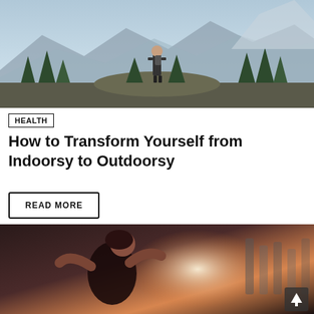[Figure (photo): Person with backpack standing on a mountain outcrop overlooking a forested valley with mountains in the background]
HEALTH
How to Transform Yourself from Indoorsy to Outdoorsy
READ MORE
[Figure (photo): Woman in a gym setting stretching or working out, warm backlit lighting with gym equipment in background]